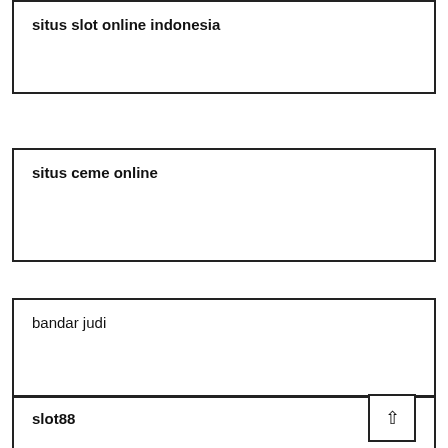situs slot online indonesia
situs ceme online
bandar judi
slot88